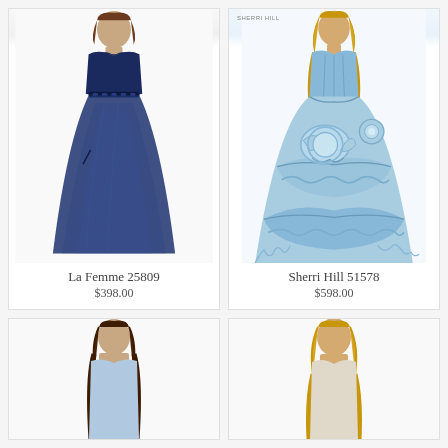[Figure (photo): Model wearing La Femme 25809 navy blue strapless tulle ball gown with sweetheart neckline and beaded waist]
La Femme 25809
$398.00
[Figure (photo): Model wearing Sherri Hill 51578 light blue ruffled ball gown with sweetheart neckline and layered ruffle skirt. Brand label SHERRI HILL visible.]
Sherri Hill 51578
$598.00
[Figure (photo): Model wearing a strapless dress, partially visible at bottom of page]
[Figure (photo): Model wearing a dress, partially visible at bottom of page, blonde hair]